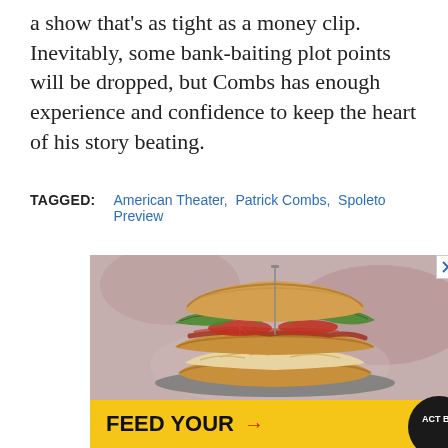a show that's as tight as a money clip. Inevitably, some bank-baiting plot points will be dropped, but Combs has enough experience and confidence to keep the heart of his story beating.
TAGGED: American Theater, Patrick Combs, Spoleto Preview
[Figure (photo): Advertisement showing a large sandwich (BLT-style with lettuce, tomato, bacon, and filling on a plate) above a yellow banner reading 'FEED YOUR' with an arrow and a circular black badge with 'ACT BA' visible.]